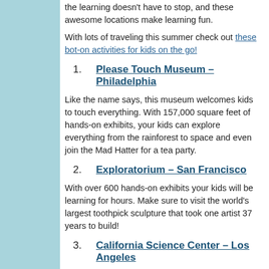the learning doesn't have to stop, and these awesome locations make learning fun.
With lots of traveling this summer check out these bot-on activities for kids on the go!
1. Please Touch Museum – Philadelphia
Like the name says, this museum welcomes kids to touch everything. With 157,000 square feet of hands-on exhibits, your kids can explore everything from the rainforest to space and even join the Mad Hatter for a tea party.
2. Exploratorium – San Francisco
With over 600 hands-on exhibits your kids will be learning for hours. Make sure to visit the world's largest toothpick sculpture that took one artist 37 years to build!
3. California Science Center – Los Angeles